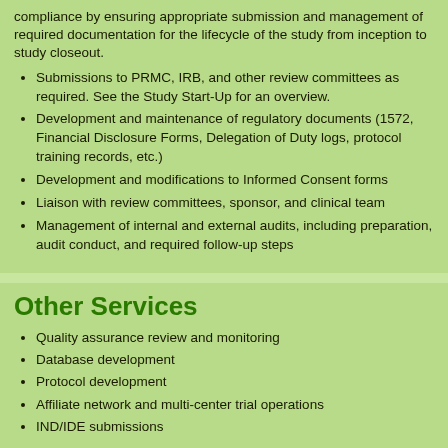compliance by ensuring appropriate submission and management of required documentation for the lifecycle of the study from inception to study closeout.
Submissions to PRMC, IRB, and other review committees as required. See the Study Start-Up for an overview.
Development and maintenance of regulatory documents (1572, Financial Disclosure Forms, Delegation of Duty logs, protocol training records, etc.)
Development and modifications to Informed Consent forms
Liaison with review committees, sponsor, and clinical team
Management of internal and external audits, including preparation, audit conduct, and required follow-up steps
Other Services
Quality assurance review and monitoring
Database development
Protocol development
Affiliate network and multi-center trial operations
IND/IDE submissions